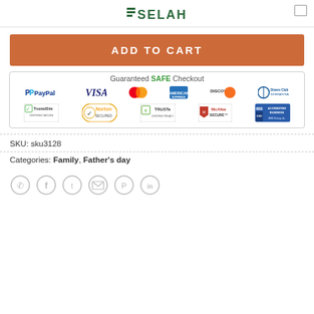SELAH
ADD TO CART
[Figure (infographic): Guaranteed SAFE Checkout badge showing payment logos: PayPal, VISA, Mastercard, American Express, Discover, Diners Club International; and security badges: TrustedSite Certified Secure, Norton Secured, TRUSTe Certified Privacy, McAfee Secure, BBB Accredited Business BBB Rating: A+]
SKU: sku3128
Categories: Family, Father's day
[Figure (infographic): Social sharing icons row: WhatsApp, Facebook, Twitter, Email, Pinterest, LinkedIn — all in light gray circle outlines]